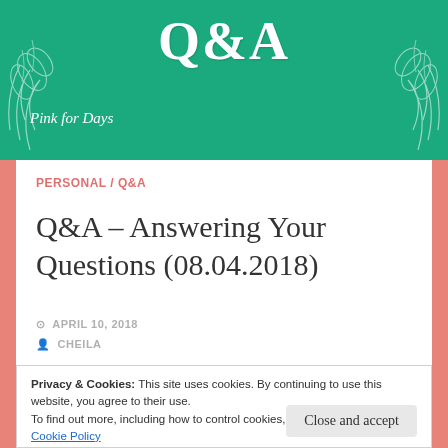Q&A
Pink for Days
PERSONAL / Q&A
Q&A – Answering Your Questions (08.04.2018)
APRIL 10, 2018
CHEILA
Privacy & Cookies: This site uses cookies. By continuing to use this website, you agree to their use.
To find out more, including how to control cookies, see here:
Cookie Policy
Close and accept
writer's block?